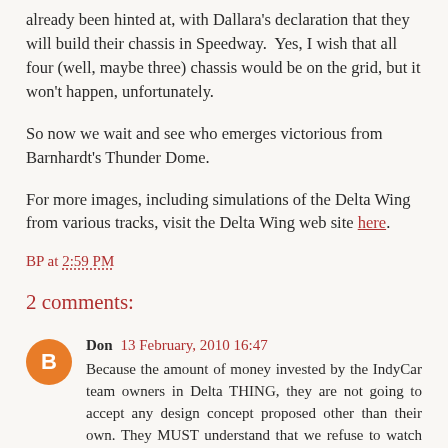already been hinted at, with Dallara's declaration that they will build their chassis in Speedway.  Yes, I wish that all four (well, maybe three) chassis would be on the grid, but it won't happen, unfortunately.
So now we wait and see who emerges victorious from Barnhardt's Thunder Dome.
For more images, including simulations of the Delta Wing from various tracks, visit the Delta Wing web site here.
BP at 2:59 PM
2 comments:
Don 13 February, 2010 16:47
Because the amount of money invested by the IndyCar team owners in Delta THING, they are not going to accept any design concept proposed other than their own. They MUST understand that we refuse to watch something this